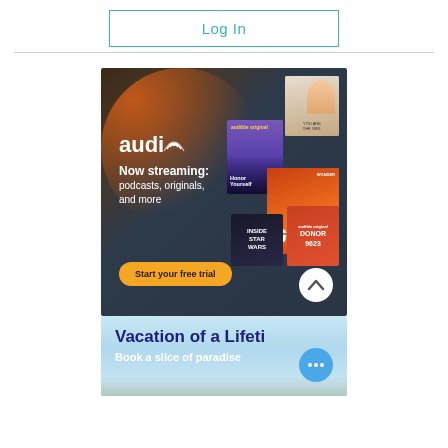Log In
[Figure (screenshot): Audible advertisement showing logo, 'Now streaming: podcasts, originals, and more', a 'Start your free trial' button, and various book/podcast cover images including 'Honor Yourself', 'GURU', 'Inside Star Wars', 'Donor 9623']
[Figure (screenshot): Travel advertisement showing 'Vacation of a Lifeti...' with subtitle 'Book a slice of paradise', beach/ocean background, and a blue more-options button]